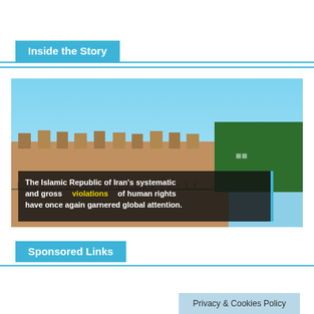Inside the Story
[Figure (screenshot): Video thumbnail showing a building with battlements against a blue sky, with a dark overlay text reading: The Islamic Republic of Iran's systematic and gross violations of human rights have once again garnered global attention.]
Sponsored Links
Privacy & Cookies Policy